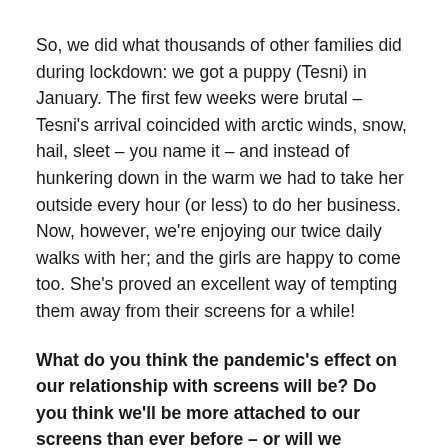So, we did what thousands of other families did during lockdown: we got a puppy (Tesni) in January. The first few weeks were brutal – Tesni's arrival coincided with arctic winds, snow, hail, sleet – you name it – and instead of hunkering down in the warm we had to take her outside every hour (or less) to do her business. Now, however, we're enjoying our twice daily walks with her; and the girls are happy to come too. She's proved an excellent way of tempting them away from their screens for a while!
What do you think the pandemic's effect on our relationship with screens will be? Do you think we'll be more attached to our screens than ever before – or will we appreciate meeting up in person more? Will kids be more or less attached to their screens?